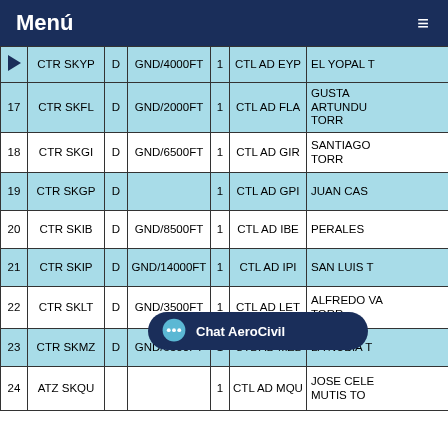Menú
| # | Nombre | D | Altitud | 1 | CTL | Aeropuerto |
| --- | --- | --- | --- | --- | --- | --- |
| 16 | CTR SKYP | D | GND/4000FT | 1 | CTL AD EYP | EL YOPAL T… |
| 17 | CTR SKFL | D | GND/2000FT | 1 | CTL AD FLA | GUSTA… ARTUNDU… TORR… |
| 18 | CTR SKGI | D | GND/6500FT | 1 | CTL AD GIR | SANTIAGO TORR… |
| 19 | CTR SKGP | D |  | 1 | CTL AD GPI | JUAN CAS… |
| 20 | CTR SKIB | D | GND/8500FT | 1 | CTL AD IBE | PERALES… |
| 21 | CTR SKIP | D | GND/14000FT | 1 | CTL AD IPI | SAN LUIS T… |
| 22 | CTR SKLT | D | GND/3500FT | 1 | CTL AD LET | ALFREDO VA… TORR… |
| 23 | CTR SKMZ | D | GND/8500FT | 1 | CTL AD MZL | LA NUBIA T… |
| 24 | ATZ SKQU |  |  | 1 | CTL AD MQU | JOSE CELE… MUTIS TO… |